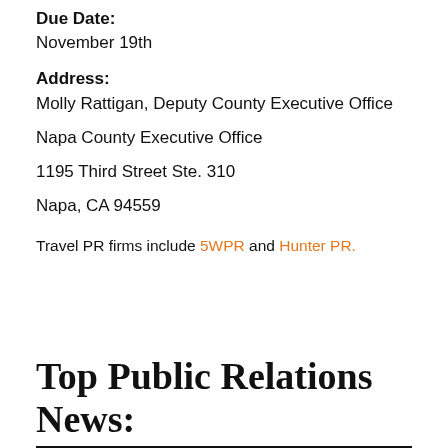Due Date:
November 19th
Address:
Molly Rattigan, Deputy County Executive Office
Napa County Executive Office
1195 Third Street Ste. 310
Napa, CA 94559
Travel PR firms include 5WPR and Hunter PR.
Top Public Relations News: